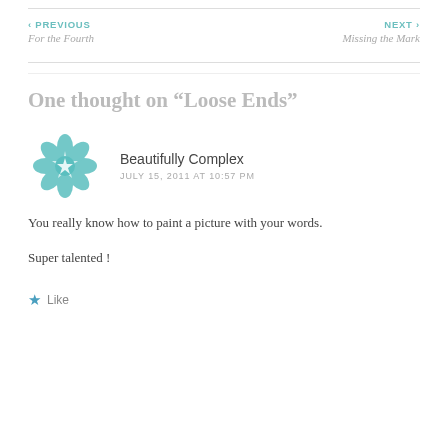‹ PREVIOUS
For the Fourth
NEXT ›
Missing the Mark
One thought on “Loose Ends”
[Figure (logo): Teal geometric floral/mandala avatar icon for Beautifully Complex commenter]
Beautifully Complex
JULY 15, 2011 AT 10:57 PM
You really know how to paint a picture with your words.

Super talented !
Like